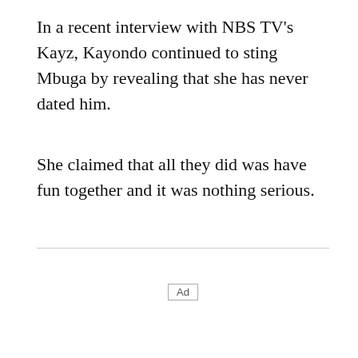In a recent interview with NBS TV's Kayz, Kayondo continued to sting Mbuga by revealing that she has never dated him.
She claimed that all they did was have fun together and it was nothing serious.
[Figure (other): Advertisement placeholder box with 'Ad' label]